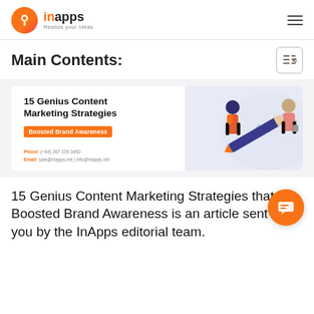inApps - Realize your ideas
Main Contents:
[Figure (infographic): Banner image for '15 Genius Content Marketing Strategies Boosted Brand Awareness' with two illustrated figures carrying a large pencil. Contact info: Phone: (+84) 287 109 3450, Email: sale@inapps.net | info@inapps.net]
15 Genius Content Marketing Strategies that Boosted Brand Awareness is an article sent to you by the InApps editorial team.